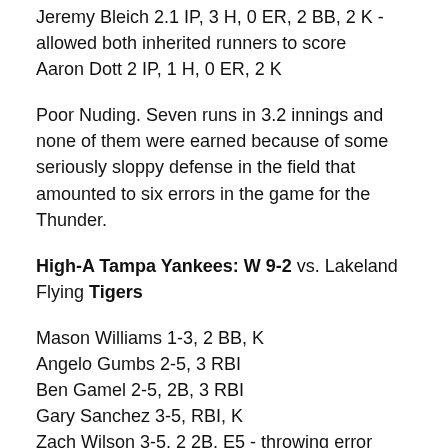Jeremy Bleich 2.1 IP, 3 H, 0 ER, 2 BB, 2 K - allowed both inherited runners to score
Aaron Dott 2 IP, 1 H, 0 ER, 2 K
Poor Nuding. Seven runs in 3.2 innings and none of them were earned because of some seriously sloppy defense in the field that amounted to six errors in the game for the Thunder.
High-A Tampa Yankees: W 9-2 vs. Lakeland Flying Tigers
Mason Williams 1-3, 2 BB, K
Angelo Gumbs 2-5, 3 RBI
Ben Gamel 2-5, 2B, 3 RBI
Gary Sanchez 3-5, RBI, K
Zach Wilson 3-5, 2 2B, E5 - throwing error
Ali Castillo 0-3, BB, 2 K - only Yankee to not pick up a